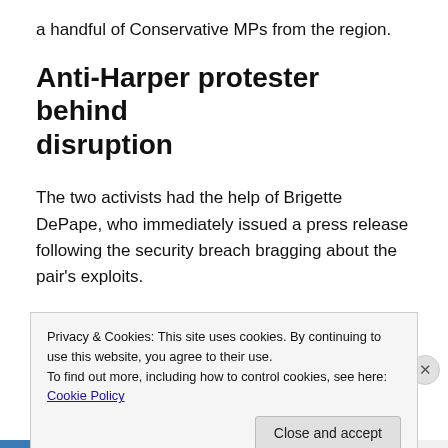a handful of Conservative MPs from the region.
Anti-Harper protester behind disruption
The two activists had the help of Brigette DePape, who immediately issued a press release following the security breach bragging about the pair's exploits.
DePape was fired as a Senate page in 2011 after walking
Privacy & Cookies: This site uses cookies. By continuing to use this website, you agree to their use.
To find out more, including how to control cookies, see here: Cookie Policy
Close and accept